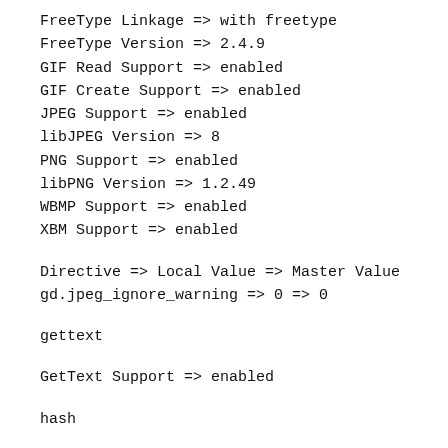FreeType Linkage => with freetype
FreeType Version => 2.4.9
GIF Read Support => enabled
GIF Create Support => enabled
JPEG Support => enabled
libJPEG Version => 8
PNG Support => enabled
libPNG Version => 1.2.49
WBMP Support => enabled
XBM Support => enabled
Directive => Local Value => Master Value
gd.jpeg_ignore_warning => 0 => 0
gettext
GetText Support => enabled
hash